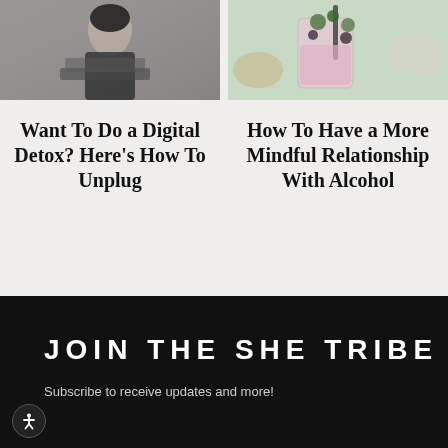[Figure (photo): Woman in black outfit sitting at a laptop, touching her face, fashion/lifestyle photo in muted tones]
[Figure (photo): Colorful drinks with berries and herbs, pink and green tones, lifestyle food photo]
Want To Do a Digital Detox? Here’s How To Unplug
How To Have a More Mindful Relationship With Alcohol
JOIN THE SHE TRIBE
Subscribe to receive updates and more!